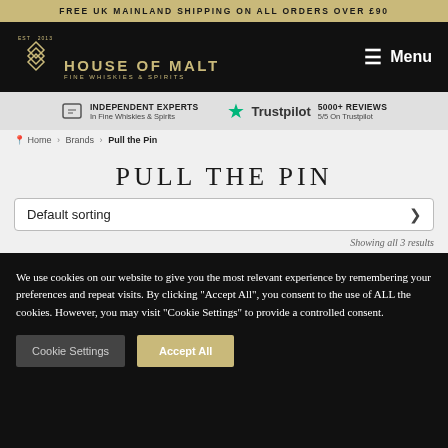FREE UK MAINLAND SHIPPING ON ALL ORDERS OVER £90
[Figure (logo): House of Malt logo with diamond/chevron geometric mark, gold text reading HOUSE OF MALT and FINE WHISKIES & SPIRITS]
Menu
INDEPENDENT EXPERTS In Fine Whiskies & Spirits
Trustpilot 5000+ REVIEWS 5/5 On Trustpilot
Home > Brands > Pull the Pin
PULL THE PIN
Default sorting
Showing all 3 results
We use cookies on our website to give you the most relevant experience by remembering your preferences and repeat visits. By clicking "Accept All", you consent to the use of ALL the cookies. However, you may visit "Cookie Settings" to provide a controlled consent.
Cookie Settings
Accept All